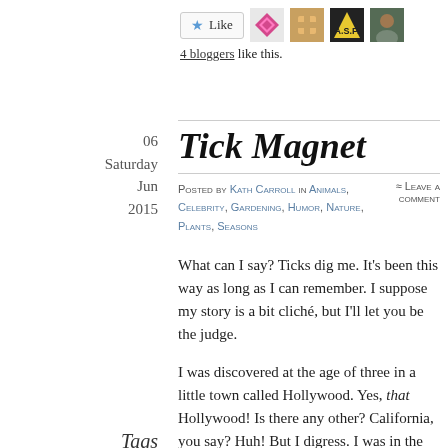[Figure (other): Like button with star icon and four blogger avatar images]
4 bloggers like this.
06
Saturday
Jun
2015
Tick Magnet
Posted by Kath Carroll in Animals, Celebrity, Gardening, Humor, Nature, Plants, Seasons ≈ Leave a comment
What can I say? Ticks dig me. It's been this way as long as I can remember. I suppose my story is a bit cliché, but I'll let you be the judge.
Tags
celebrity,
gardening,
humor,
insects,
mosquitoes,
nature, pest
I was discovered at the age of three in a little town called Hollywood. Yes, that Hollywood! Is there any other? California, you say? Huh! But I digress. I was in the